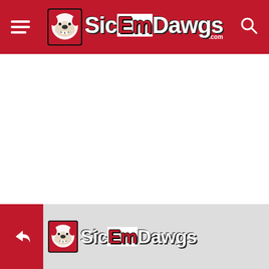SicEmDawgs.com — navigation header with hamburger menu, logo, and search icon
[Figure (logo): SicEmDawgs.com logo with bulldog mascot icon in red navigation bar]
[Figure (logo): SicEmDawgs.com footer logo with bulldog mascot icon on gray background, share button on left]